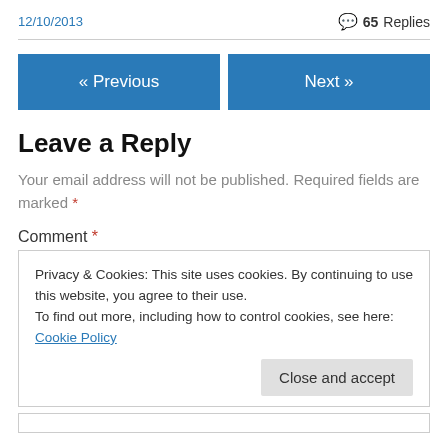12/10/2013
65 Replies
« Previous
Next »
Leave a Reply
Your email address will not be published. Required fields are marked *
Comment *
Privacy & Cookies: This site uses cookies. By continuing to use this website, you agree to their use.
To find out more, including how to control cookies, see here: Cookie Policy
Close and accept